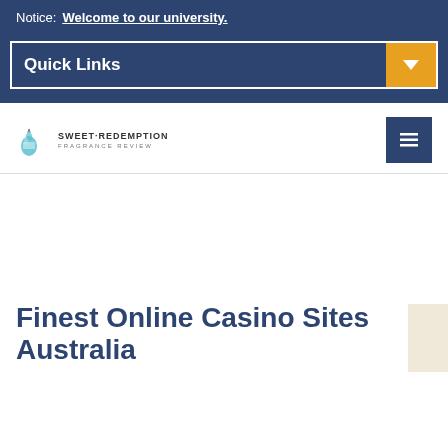Notice: Welcome to our university.
Quick Links
[Figure (logo): Sweet Redemption Fragrance Review logo with bottle icon]
Finest Online Casino Sites Australia